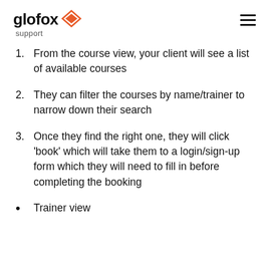glofox support
From the course view, your client will see a list of available courses
They can filter the courses by name/trainer to narrow down their search
Once they find the right one, they will click 'book' which will take them to a login/sign-up form which they will need to fill in before completing the booking
Trainer view